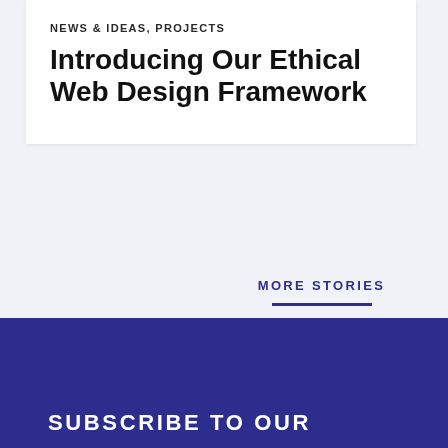NEWS & IDEAS, PROJECTS
Introducing Our Ethical Web Design Framework
MORE STORIES
SUBSCRIBE TO OUR